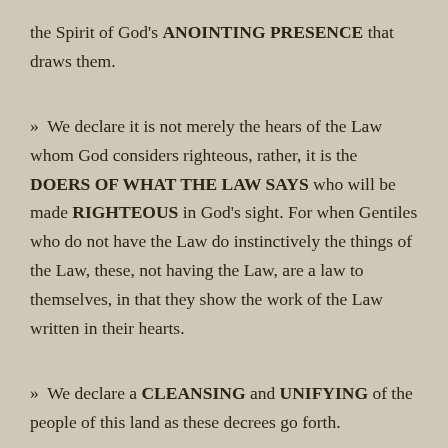the Spirit of God's ANOINTING PRESENCE that draws them.
» We declare it is not merely the hears of the Law whom God considers righteous, rather, it is the DOERS OF WHAT THE LAW SAYS who will be made RIGHTEOUS in God's sight. For when Gentiles who do not have the Law do instinctively the things of the Law, these, not having the Law, are a law to themselves, in that they show the work of the Law written in their hearts.
» We declare a CLEANSING and UNIFYING of the people of this land as these decrees go forth.